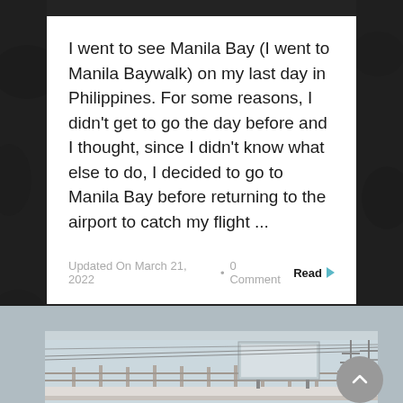I went to see Manila Bay (I went to Manila Baywalk) on my last day in Philippines. For some reasons, I didn't get to go the day before and I thought, since I didn't know what else to do, I decided to go to Manila Bay before returning to the airport to catch my flight ...
Updated On March 21, 2022 • 0 Comment Read ▶
[Figure (photo): A photograph of a bridge or elevated structure with metal framework, electric pylons, and overhead wires against a light sky.]